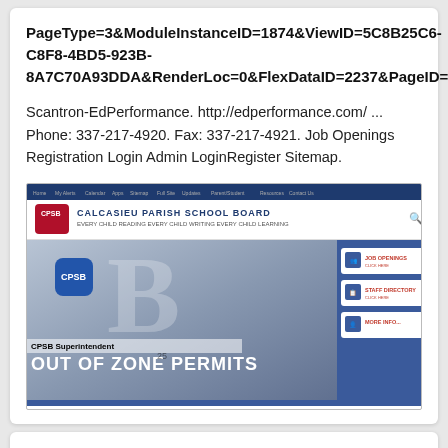PageType=3&ModuleInstanceID=1874&ViewID=5C8B25C6-C8F8-4BD5-923B-8A7C70A93DDA&RenderLoc=0&FlexDataID=2237&PageID=1760
Scantron-EdPerformance. http://edperformance.com/ ... Phone: 337-217-4920. Fax: 337-217-4921. Job Openings Registration Login Admin LoginRegister Sitemap.
[Figure (screenshot): Screenshot of the Calcasieu Parish School Board (CPSB) website showing the navigation bar, logo, school name header, and main hero area with 'OUT OF ZONE PERMITS' text and CPSB Superintendent overlay, with menu buttons on the right side.]